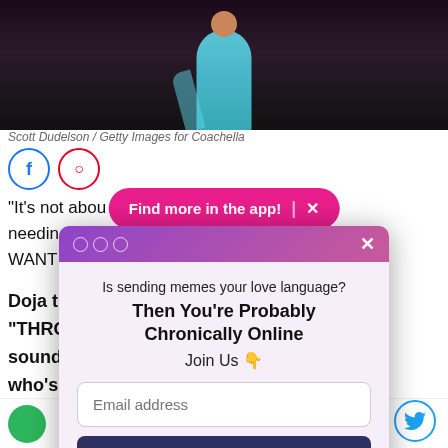[Figure (photo): Photo of a performer on stage in blue costume, dark background. Coachella performance.]
Scott Dudelson / Getty Images for Coachella
"It's not about [text obscured] bout not needing t[text obscured] Right [text obscured] NEED THEM [text obscured] 't WANT t[text obscured]
Doja t[ext obscured] er to "THRO[text obscured] soun[d obscured] ody who's [obscured] tine addict[ed]
[Figure (screenshot): Pink pill-shaped banner reading: Find more in the app! X]
[Figure (screenshot): Modal popup with gradient purple title bar showing: Is sending memes your love language? Then You're Probably Chronically Online. Join Us 👇. Email address input field. Sign Me Up! button. No Thanks link.]